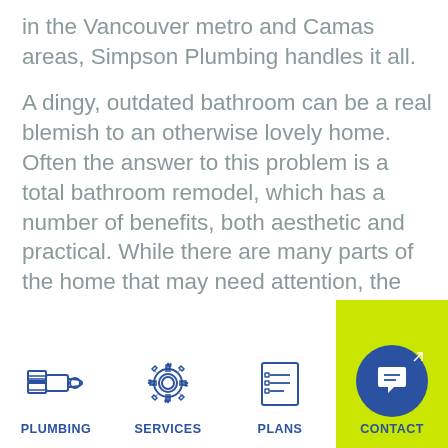in the Vancouver metro and Camas areas, Simpson Plumbing handles it all.
A dingy, outdated bathroom can be a real blemish to an otherwise lovely home. Often the answer to this problem is a total bathroom remodel, which has a number of benefits, both aesthetic and practical. While there are many parts of the home that may need attention, the bathroom or bathrooms should be at the top of your list for a remodel.
[Figure (infographic): Bottom navigation bar with four icons: Plumbing (pipe icon), Services (gear icon), Plans (list icon), Contact (chat bubble icon on lime green background)]